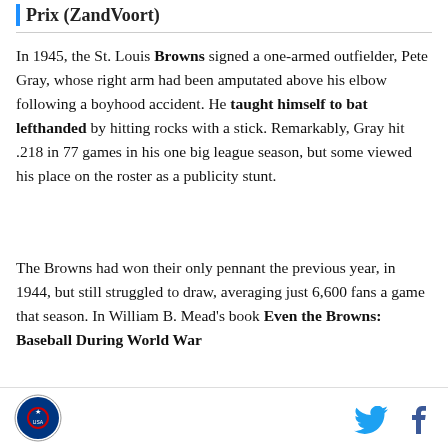Prix (ZandVoort)
In 1945, the St. Louis Browns signed a one-armed outfielder, Pete Gray, whose right arm had been amputated above his elbow following a boyhood accident. He taught himself to bat lefthanded by hitting rocks with a stick. Remarkably, Gray hit .218 in 77 games in his one big league season, but some viewed his place on the roster as a publicity stunt.
The Browns had won their only pennant the previous year, in 1944, but still struggled to draw, averaging just 6,600 fans a game that season. In William B. Mead's book Even the Browns: Baseball During World War